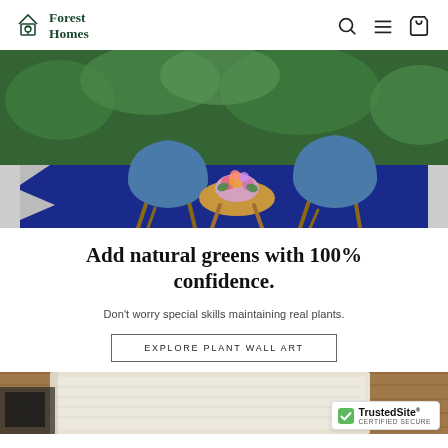Forest Homes
[Figure (photo): Two blue chairs with wooden legs on a navy blue rug, with a small round wooden table holding a floral arrangement, surrounded by green hedge wall background.]
Add natural greens with 100% confidence.
Don't worry special skills maintaining real plants.
EXPLORE PLANT WALL ART
[Figure (photo): Partial view of a white textured rug on wooden floor with some books or items visible at left edge. TrustedSite CERTIFIED SECURE badge visible at bottom right.]